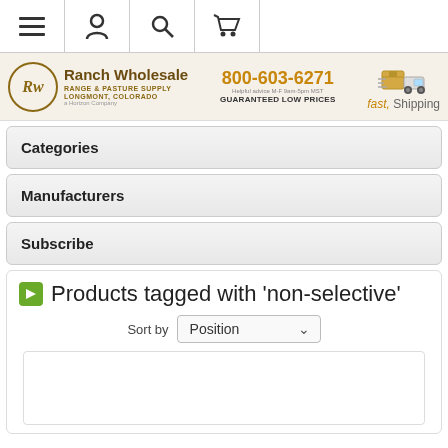Navigation bar with menu, account, search, and cart icons
[Figure (logo): Ranch Wholesale Range & Pasture Supply logo banner with phone number 800-603-6271 and fast shipping icon]
Categories
Manufacturers
Subscribe
Products tagged with 'non-selective'
Sort by Position